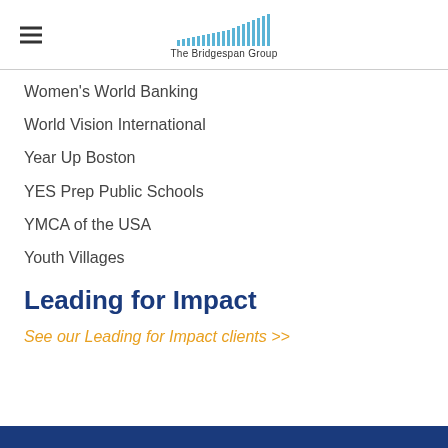The Bridgespan Group
Women's World Banking
World Vision International
Year Up Boston
YES Prep Public Schools
YMCA of the USA
Youth Villages
Leading for Impact
See our Leading for Impact clients >>